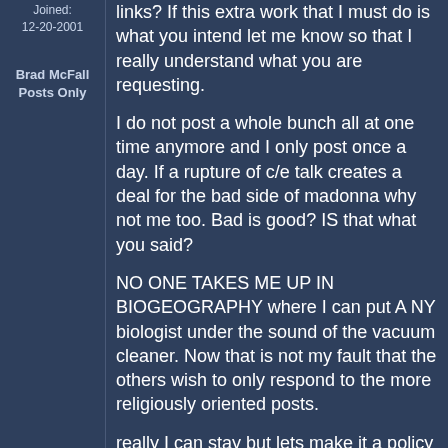Joined: 12-20-2001
Brad McFall
Posts Only
links? If this extra work that I must do is what you intend let me know so that I really understand what you are requesting.
I do not post a whole bunch all at one time anymore and I only post once a day. If a rupture of c/e talk creates a deal for the bad side of madonna why not me too. Bad is good? IS that what you said?
NO ONE TAKES ME UP IN BIOGEOGRAPHY where I can put A NY biologist under the sound of the vacuum cleaner. Now that is not my fault that the others wish to only respond to the more religiously oriented posts.
really I can stay but lets make it a policy for everyone else be more explict (eveyone can post ONE NEW PARAGRAH) if they link it to a past one so that others dont have to search for past work or else maybe the stature of this board has indeed slummped.
Does the screen enable me to SEE what